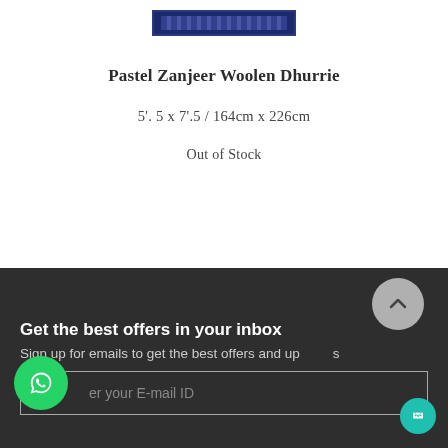[Figure (illustration): Partial product image of a Pastel Zanjeer Woolen Dhurrie rug/carpet, showing a narrow blue patterned bar at the top.]
Pastel Zanjeer Woolen Dhurrie
5'. 5 x 7'.5 / 164cm x 226cm
Out of Stock
Get the best offers in your inbox
Sign up for emails to get the best offers and updates
Enter your E-mail ID